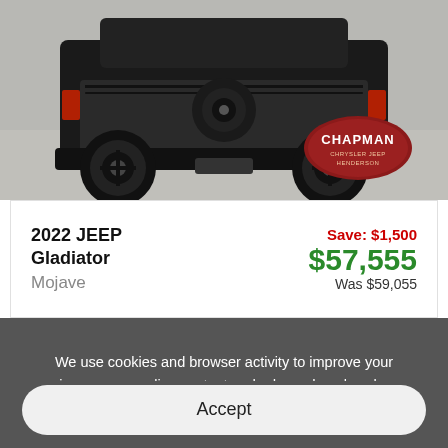[Figure (photo): Rear view of a dark-colored Jeep Gladiator Mojave truck with large off-road tires, on a concrete surface. Chapman Chrysler Jeep Henderson dealership logo watermark visible in the lower right of the photo.]
2022 JEEP Gladiator Mojave
Save: $1,500
$57,555
Was $59,055
We use cookies and browser activity to improve your experience, personalize content and ads, and analyze how our sites are used. For more information, view our Privacy Policy.
Accept